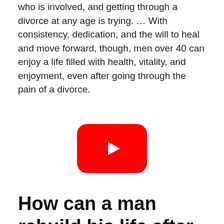who is involved, and getting through a divorce at any age is trying. ... With consistency, dedication, and the will to heal and move forward, though, men over 40 can enjoy a life filled with health, vitality, and enjoyment, even after going through the pain of a divorce.
[Figure (other): YouTube play button icon — red rounded rectangle with white triangle play arrow]
How can a man rebuild his life after divorce?